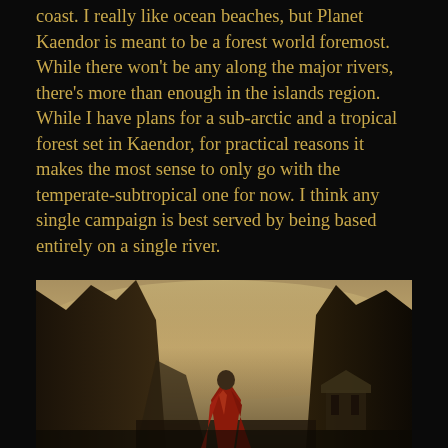coast. I really like ocean beaches, but Planet Kaendor is meant to be a forest world foremost. While there won't be any along the major rivers, there's more than enough in the islands region. While I have plans for a sub-arctic and a tropical forest set in Kaendor, for practical reasons it makes the most sense to only go with the temperate-subtropical one for now. I think any single campaign is best served by being based entirely on a single river.
[Figure (illustration): Fantasy illustration showing a figure in a red cape or cloak standing between large rocky cliffs or mountains, with a misty/foggy sky and what appears to be a pagoda or temple structure visible in the background on the right.]